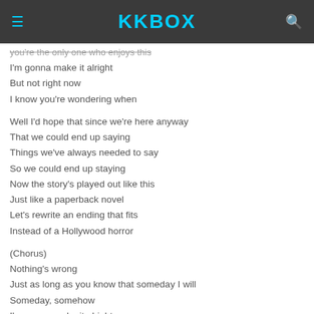KKBOX
I'm gonna make it alright
But not right now
I know you're wondering when
Well I'd hope that since we're here anyway
That we could end up saying
Things we've always needed to say
So we could end up staying
Now the story's played out like this
Just like a paperback novel
Let's rewrite an ending that fits
Instead of a Hollywood horror
(Chorus)
Nothing's wrong
Just as long as you know that someday I will
Someday, somehow
I'm gonna make it alright
But not right now